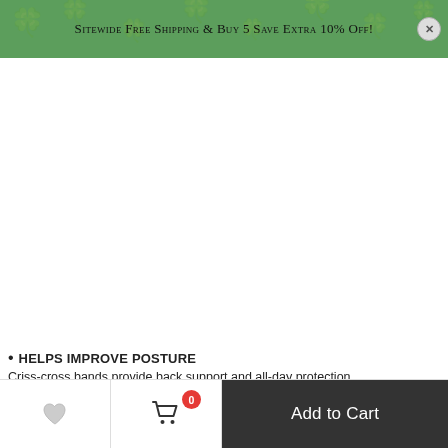Sitewide Free Shipping & Buy 5 Save Extra 10% Off!
[Figure (other): White space area where product image would be displayed]
HELPS IMPROVE POSTURE
Criss-cross bands provide back support and all-day protection.
[Figure (other): Broken image placeholder]
[Figure (logo): Google logo circular icon]
[Figure (other): Bottom navigation bar with wishlist heart icon, shopping cart with badge showing 0, and Add to Cart button]